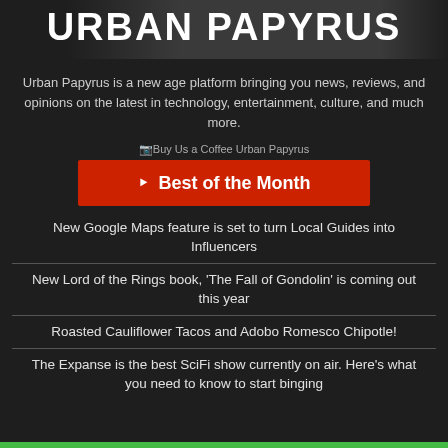Urban Papyrus
Urban Papyrus is a new age platform bringing you news, reviews, and opinions on the latest in technology, entertainment, culture, and much more.
[Figure (illustration): Buy Us a Coffee Urban Papyrus button/link image]
Best of the Month
New Google Maps feature is set to turn Local Guides into Influencers
New Lord of the Rings book, 'The Fall of Gondolin' is coming out this year
Roasted Cauliflower Tacos and Adobo Romesco Chipotle!
The Expanse is the best SciFi show currently on air. Here's what you need to know to start binging